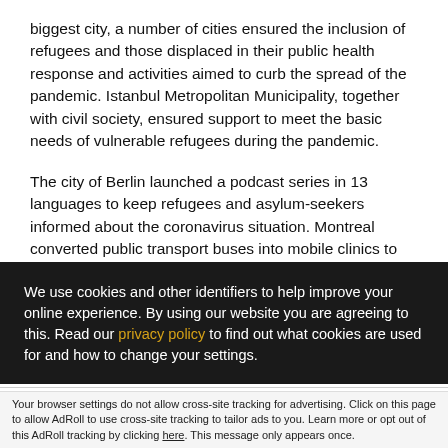biggest city, a number of cities ensured the inclusion of refugees and those displaced in their public health response and activities aimed to curb the spread of the pandemic. Istanbul Metropolitan Municipality, together with civil society, ensured support to meet the basic needs of vulnerable refugees during the pandemic.
The city of Berlin launched a podcast series in 13 languages to keep refugees and asylum-seekers informed about the coronavirus situation. Montreal converted public transport buses into mobile clinics to increase COVID-19 screenings in neighborhoods that host refugees and asylum seekers.
We use cookies and other identifiers to help improve your online experience. By using our website you are agreeing to this. Read our privacy policy to find out what cookies are used for and how to change your settings.
Accept and Close ✕
Your browser settings do not allow cross-site tracking for advertising. Click on this page to allow AdRoll to use cross-site tracking to tailor ads to you. Learn more or opt out of this AdRoll tracking by clicking here. This message only appears once.